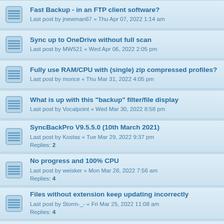Fast Backup - in an FTP client software?
Last post by jnewman67 « Thu Apr 07, 2022 1:14 am
Sync up to OneDrive without full scan
Last post by MW521 « Wed Apr 06, 2022 2:05 pm
Fully use RAM/CPU with (single) zip compressed profiles?
Last post by morice « Thu Mar 31, 2022 4:05 pm
What is up with this "backup" filter/file display
Last post by Vocalpoint « Wed Mar 30, 2022 8:58 pm
SyncBackPro V9.5.5.0 (10th March 2021)
Last post by Kostas « Tue Mar 29, 2022 9:37 pm
Replies: 2
No progress and 100% CPU
Last post by weisker « Mon Mar 28, 2022 7:56 am
Replies: 4
Files without extension keep updating incorrectly
Last post by Storm-_- « Fri Mar 25, 2022 11:08 am
Replies: 4
How to let SB popup comparison dialogs not on top of all other windows?
Last post by pstein « Thu Mar 24, 2022 1:23 pm
Replies: 2
Retry on fail
Last post by rustleg « Tue Mar 22, 2022 9:55 am
Differential - Handling Deleted Files?
Last post by Swanna « Fri Mar 11, 2022 5:48 am